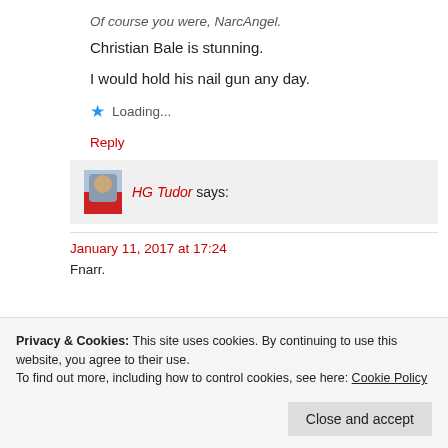Of course you were, NarcAngel.
Christian Bale is stunning.
I would hold his nail gun any day.
Loading...
Reply
HG Tudor says:
January 11, 2017 at 17:24
Fnarr.
Privacy & Cookies: This site uses cookies. By continuing to use this website, you agree to their use. To find out more, including how to control cookies, see here: Cookie Policy
Close and accept